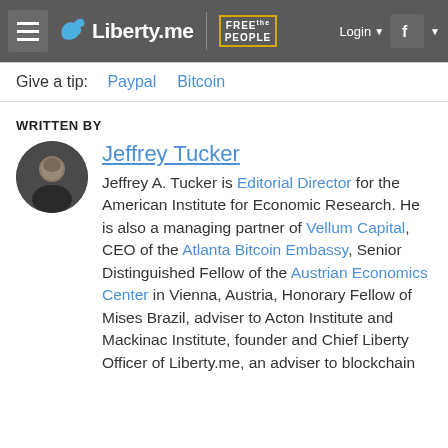Liberty.me | Free the People — Login | Facebook
Give a tip:   Paypal   Bitcoin
WRITTEN BY
[Figure (photo): Circular portrait photo of Jeffrey Tucker, an older man in a suit]
Jeffrey Tucker
Jeffrey A. Tucker is Editorial Director for the American Institute for Economic Research. He is also a managing partner of Vellum Capital, CEO of the Atlanta Bitcoin Embassy, Senior Distinguished Fellow of the Austrian Economics Center in Vienna, Austria, Honorary Fellow of Mises Brazil, adviser to Acton Institute and Mackinac Institute, founder and Chief Liberty Officer of Liberty.me, an adviser to blockchain